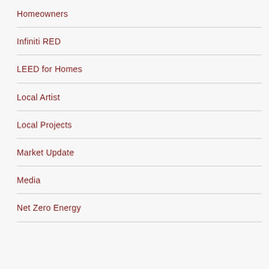Homeowners
Infiniti RED
LEED for Homes
Local Artist
Local Projects
Market Update
Media
Net Zero Energy